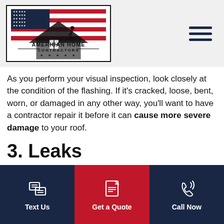[Figure (logo): American Home Contractors logo with American flag and house silhouette with roofing contractor]
As you perform your visual inspection, look closely at the condition of the flashing. If it's cracked, loose, bent, worn, or damaged in any other way, you'll want to have a contractor repair it before it can cause more severe damage to your roof.
3. Leaks
With modern-
[Figure (infographic): Footer navigation bar with three buttons: Text Us (dark navy), Get a Quote (red, center), Call Now (dark navy)]